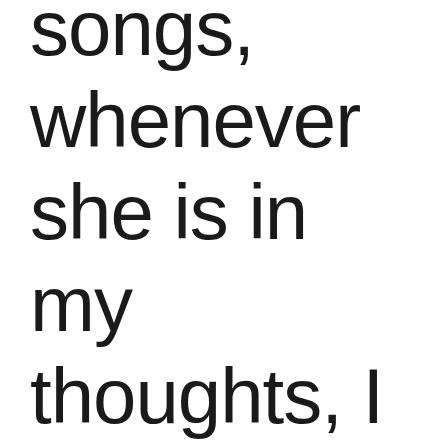songs, whenever she is in my thoughts, I will look up to the sky - I